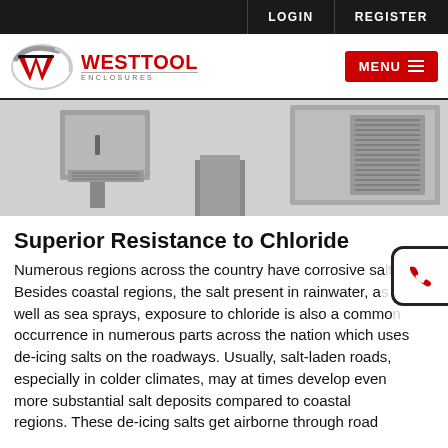LOGIN   REGISTER
[Figure (logo): West Tool Enclosures logo with red WT emblem and WESTTOOL ENCLOSURES text]
[Figure (photo): Industrial metal electrical enclosures/cabinets mounted on stands, stainless steel with ventilation panels]
Superior Resistance to Chloride
Numerous regions across the country have corrosive salt. Besides coastal regions, the salt present in rainwater, as well as sea sprays, exposure to chloride is also a common occurrence in numerous parts across the nation which uses de-icing salts on the roadways. Usually, salt-laden roads, especially in colder climates, may at times develop even more substantial salt deposits compared to coastal regions. These de-icing salts get airborne through road